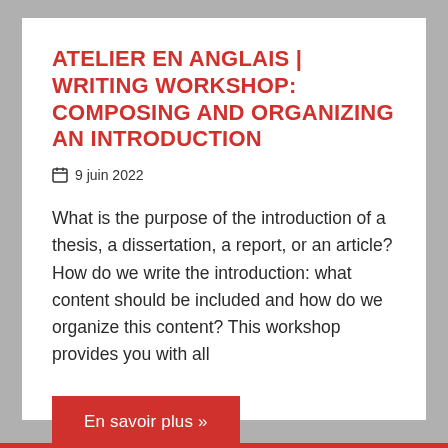ATELIER EN ANGLAIS | WRITING WORKSHOP: COMPOSING AND ORGANIZING AN INTRODUCTION
9 juin 2022
What is the purpose of the introduction of a thesis, a dissertation, a report, or an article? How do we write the introduction: what content should be included and how do we organize this content? This workshop provides you with all
En savoir plus »